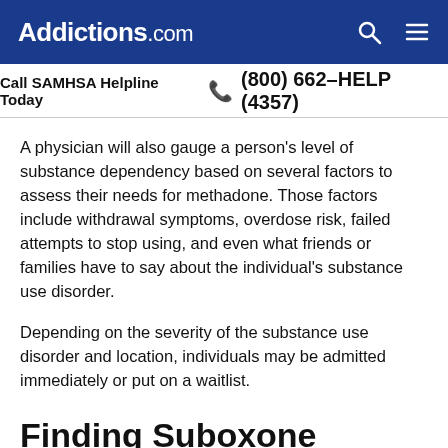Addictions.com
Call SAMHSA Helpline Today  (800) 662-HELP (4357)
A physician will also gauge a person's level of substance dependency based on several factors to assess their needs for methadone. Those factors include withdrawal symptoms, overdose risk, failed attempts to stop using, and even what friends or families have to say about the individual's substance use disorder.
Depending on the severity of the substance use disorder and location, individuals may be admitted immediately or put on a waitlist.
Finding Suboxone Doctors